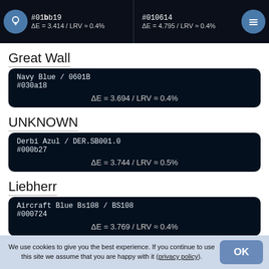#01bb19 ΔE = 3.414 / LRV ≈ 0.4%   #010614 ΔE = 4.795 / LRV ≈ 0.4%
Great Wall
Navy Blue / 0601B
#030a18
ΔE = 3.694 / LRV ≈ 0.4%
UNKNOWN
Derbi Azul / DER.SB001.0
#000b27
ΔE = 3.744 / LRV ≈ 0.5%
Liebherr
Aircraft Blue Bs108 / BS108
#000724
ΔE = 3.769 / LRV ≈ 0.4%
We use cookies to give you the best experience. If you continue to use this site we assume that you are happy with it (privacy policy).